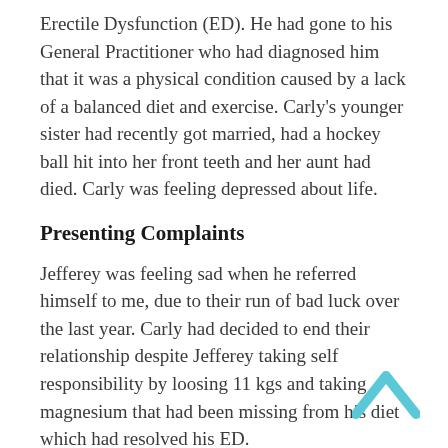Erectile Dysfunction (ED). He had gone to his General Practitioner who had diagnosed him that it was a physical condition caused by a lack of a balanced diet and exercise. Carly's younger sister had recently got married, had a hockey ball hit into her front teeth and her aunt had died. Carly was feeling depressed about life.
Presenting Complaints
Jefferey was feeling sad when he referred himself to me, due to their run of bad luck over the last year. Carly had decided to end their relationship despite Jefferey taking self responsibility by loosing 11 kgs and taking magnesium that had been missing from his diet which had resolved his ED.